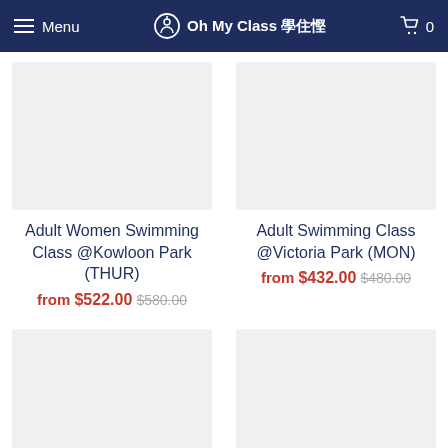Menu  Oh My Class 學住慳  0
Adult Women Swimming Class @Kowloon Park (THUR)
from $522.00 $580.00
Adult Swimming Class @Victoria Park (MON)
from $432.00 $480.00
Adult Swimming Class
Aqua Fitness Class